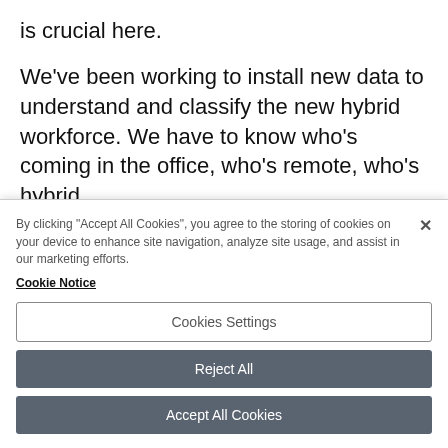is crucial here.
We’ve been working to install new data to understand and classify the new hybrid workforce. We have to know who’s coming in the office, who’s remote, who’s hybrid.
By clicking “Accept All Cookies”, you agree to the storing of cookies on your device to enhance site navigation, analyze site usage, and assist in our marketing efforts. Cookie Notice
Cookies Settings
Reject All
Accept All Cookies